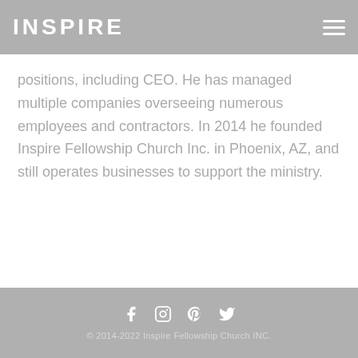INSPIRE
positions, including CEO. He has managed multiple companies overseeing numerous employees and contractors. In 2014 he founded Inspire Fellowship Church Inc. in Phoenix, AZ, and still operates businesses to support the ministry.
© 2014-2022 Inspire Fellowship Church INC.